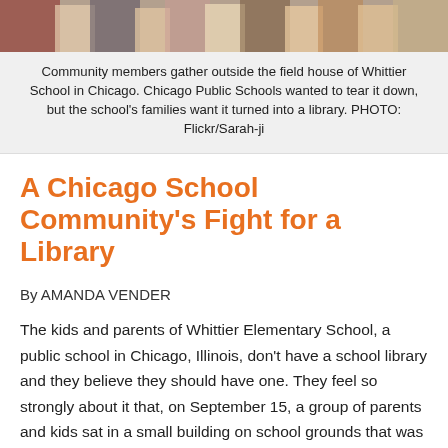[Figure (photo): Community members gathered outside the field house of Whittier School in Chicago — a group photo cropped to show upper portion of crowd.]
Community members gather outside the field house of Whittier School in Chicago. Chicago Public Schools wanted to tear it down, but the school's families want it turned into a library. PHOTO: Flickr/Sarah-ji
A Chicago School Community's Fight for a Library
By AMANDA VENDER
The kids and parents of Whittier Elementary School, a public school in Chicago, Illinois, don't have a school library and they believe they should have one. They feel so strongly about it that, on September 15, a group of parents and kids sat in a small building on school grounds that was supposed to be torn down and refused to leave. For 43 days they stayed inside the building to prevent it from being torn down. The